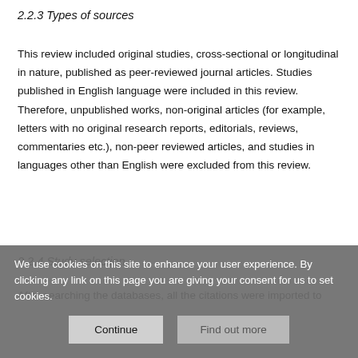2.2.3 Types of sources
This review included original studies, cross-sectional or longitudinal in nature, published as peer-reviewed journal articles. Studies published in English language were included in this review. Therefore, unpublished works, non-original articles (for example, letters with no original research reports, editorials, reviews, commentaries etc.), non-peer reviewed articles, and studies in languages other than English were excluded from this review.
2.2.4 Study selection
After searching the databases, all the citations were imported to
We use cookies on this site to enhance your user experience. By clicking any link on this page you are giving your consent for us to set cookies.